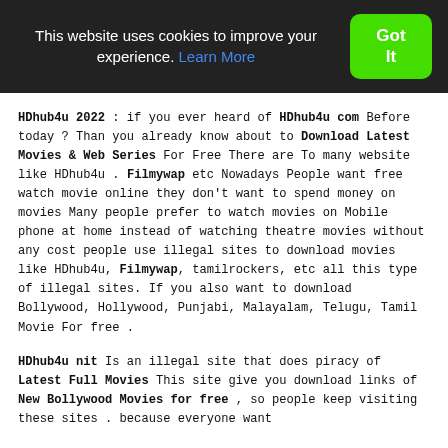This website uses cookies to improve your experience. Learn More  Got It
HDhub4u 2022 : if you ever heard of HDhub4u com Before today ? Than you already know about to Download Latest Movies & Web Series For Free There are To many website like HDhub4u . Filmywap etc Nowadays People want free watch movie online they don't want to spend money on movies Many people prefer to watch movies on Mobile phone at home instead of watching theatre movies without any cost people use illegal sites to download movies like HDhub4u, Filmywap, tamilrockers, etc all this type of illegal sites. If you also want to download Bollywood, Hollywood, Punjabi, Malayalam, Telugu, Tamil Movie For free .
HDhub4u nit Is an illegal site that does piracy of Latest Full Movies This site give you download links of New Bollywood Movies for free , so people keep visiting these sites . because everyone want